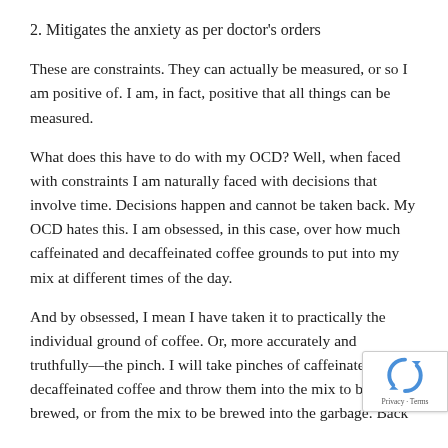2. Mitigates the anxiety as per doctor's orders
These are constraints. They can actually be measured, or so I am positive of. I am, in fact, positive that all things can be measured.
What does this have to do with my OCD? Well, when faced with constraints I am naturally faced with decisions that involve time. Decisions happen and cannot be taken back. My OCD hates this. I am obsessed, in this case, over how much caffeinated and decaffeinated coffee grounds to put into my mix at different times of the day.
And by obsessed, I mean I have taken it to practically the individual ground of coffee. Or, more accurately and truthfully—the pinch. I will take pinches of caffeinated decaffeinated coffee and throw them into the mix to be brewed, or from the mix to be brewed into the garbage. Back